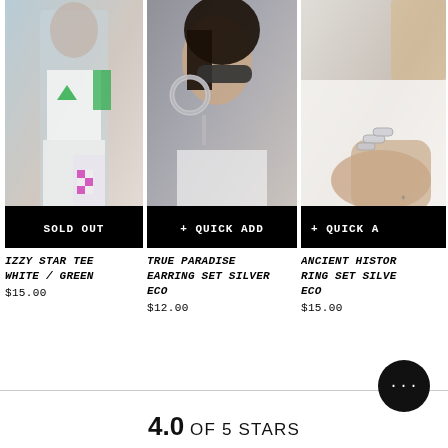[Figure (photo): Woman wearing white and green crop top with colorful checkered pants, arm raised. Black bar at bottom reads SOLD OUT.]
[Figure (photo): Woman in profile wearing large silver hoop earrings and sunglasses with chain necklace. Black bar at bottom reads + QUICK ADD.]
[Figure (photo): Close-up of hand wearing silver rings on white fabric background. Black bar at bottom reads + QUICK A (truncated).]
IZZY STAR TEE WHITE / GREEN
$15.00
TRUE PARADISE EARRING SET SILVER ECO
$12.00
ANCIENT HISTORY RING SET SILVER ECO
$15.00
4.0 OF 5 STARS